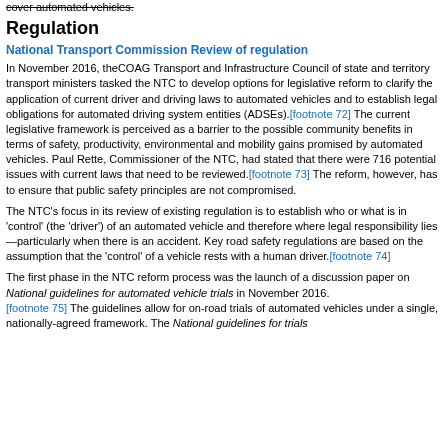cover automated vehicles.
Regulation
National Transport Commission Review of regulation
In November 2016, theCOAG Transport and Infrastructure Council of state and territory transport ministers tasked the NTC to develop options for legislative reform to clarify the application of current driver and driving laws to automated vehicles and to establish legal obligations for automated driving system entities (ADSEs).[footnote 72] The current legislative framework is perceived as a barrier to the possible community benefits in terms of safety, productivity, environmental and mobility gains promised by automated vehicles. Paul Rette, Commissioner of the NTC, had stated that there were 716 potential issues with current laws that need to be reviewed.[footnote 73] The reform, however, has to ensure that public safety principles are not compromised.
The NTC's focus in its review of existing regulation is to establish who or what is in 'control' (the 'driver') of an automated vehicle and therefore where legal responsibility lies—particularly when there is an accident. Key road safety regulations are based on the assumption that the 'control' of a vehicle rests with a human driver.[footnote 74]
The first phase in the NTC reform process was the launch of a discussion paper on National guidelines for automated vehicle trials in November 2016.[footnote 75] The guidelines allow for on-road trials of automated vehicles under a single, nationally-agreed framework. The National guidelines for trials